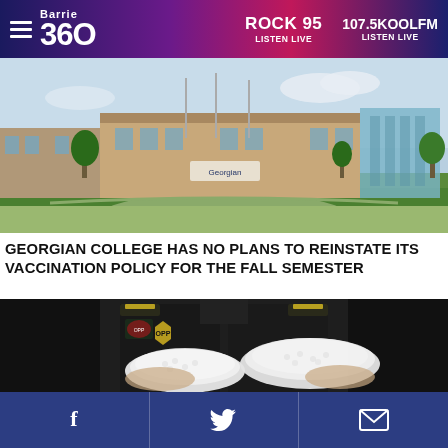Barrie 360 | ROCK 95 LISTEN LIVE | 107.5KOOL FM LISTEN LIVE
[Figure (photo): Georgian College campus exterior, daytime, green lawn, trees, building facade with Georgian sign]
GEORGIAN COLLEGE HAS NO PLANS TO REINSTATE ITS VACCINATION POLICY FOR THE FALL SEMESTER
[Figure (photo): Police officer in dark uniform holding two large bags of white pills/drugs]
Facebook | Twitter | Email